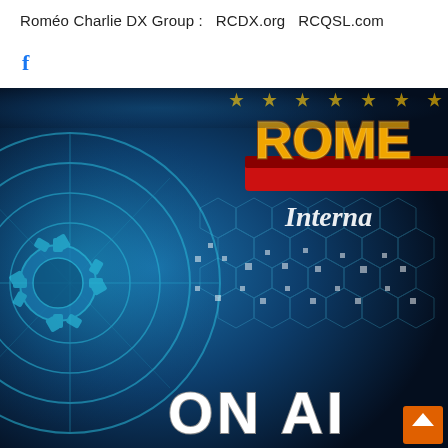Roméo Charlie DX Group :   RCDX.org   RCQSL.com
f
[Figure (illustration): Banner image for Roméo Charlie DX Group showing a stylized logo with 'ROME' in gold/red text on a blue tech-themed background with hexagonal patterns, stars across the top, italic text 'Interna' (International, partially cropped), and 'ON AI' (ON AIR, partially cropped) in white block letters at the bottom. An orange square with an upward arrow is visible at the bottom right.]